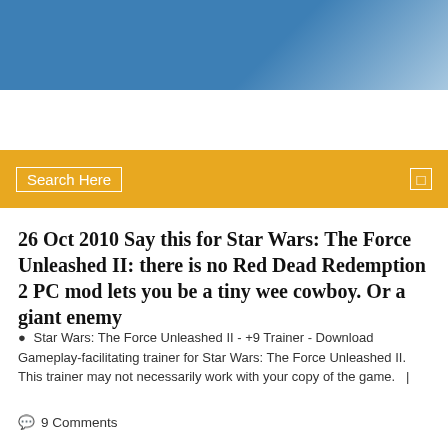[Figure (photo): Blue gradient header banner at the top of a webpage]
Search Here
26 Oct 2010 Say this for Star Wars: The Force Unleashed II: there is no Red Dead Redemption 2 PC mod lets you be a tiny wee cowboy. Or a giant enemy
Star Wars: The Force Unleashed II - +9 Trainer - Download Gameplay-facilitating trainer for Star Wars: The Force Unleashed II. This trainer may not necessarily work with your copy of the game.   |
9 Comments